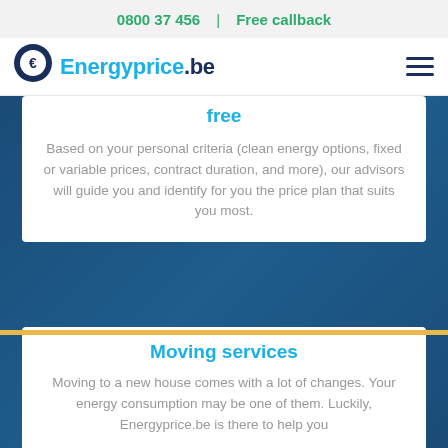0800 37 456   |   Free callback
[Figure (logo): Energyprice.be logo with map pin icon containing euro symbol]
free
Based on your personal criteria (clean energy options, fixed or variable prices, contract duration, and more), our advisors will guide you and identify for you the price plan that suits you most.
Moving services
Moving to a new house comes with a lot of changes. Your energy consumption may be one of them. Luckily, Energyprice.be is there to help you